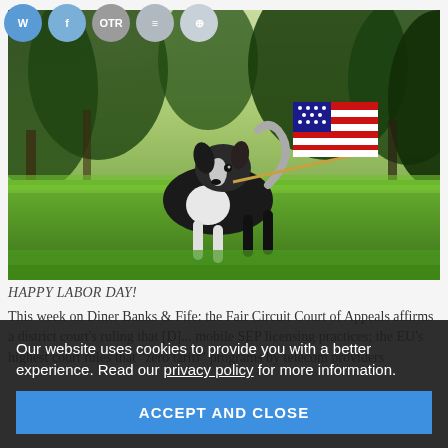[Figure (photo): A black and white border collie running on green grass, carrying a small American flag in its mouth, with trees in the background.]
HAPPY LABOR DAY!
This week on Diner Banks & Fife: the Fair Circuit Court of Appeals affirms a district court's ruling that [D]... mobile SEP licensing practices; the EU's highest court rules that "zero tariff" programs by telecom providers
Our website uses cookies to provide you with a better experience. Read our privacy policy for more information.
ACCEPT AND CLOSE